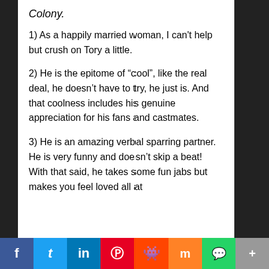Colony.
1) As a happily married woman, I can't help but crush on Tory a little.
2) He is the epitome of “cool”, like the real deal, he doesn’t have to try, he just is. And that coolness includes his genuine appreciation for his fans and castmates.
3) He is an amazing verbal sparring partner. He is very funny and doesn’t skip a beat! With that said, he takes some fun jabs but makes you feel loved all at
f  t  in  p  s  m  w  +